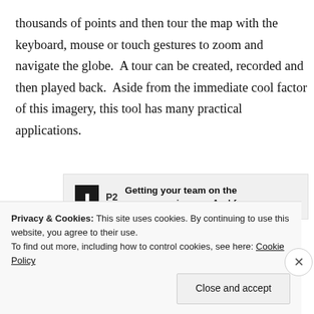thousands of points and then tour the map with the keyboard, mouse or touch gestures to zoom and navigate the globe. A tour can be created, recorded and then played back. Aside from the immediate cool factor of this imagery, this tool has many practical applications.
[Figure (other): Advertisement banner for P2 with logo and text: Getting your team on the same page is easy. And free.]
I have already write post on it , If you have missed
Privacy & Cookies: This site uses cookies. By continuing to use this website, you agree to their use.
To find out more, including how to control cookies, see here: Cookie Policy
Close and accept